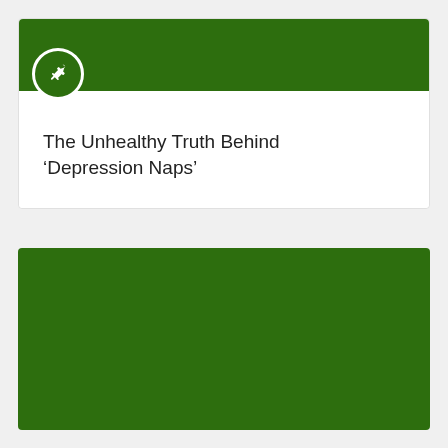[Figure (infographic): Card with dark green header bar, a circular pin icon badge overlapping the header and white content area, containing article title text]
The Unhealthy Truth Behind ‘Depression Naps’
[Figure (other): Solid dark green rectangular block filling the lower portion of the page]